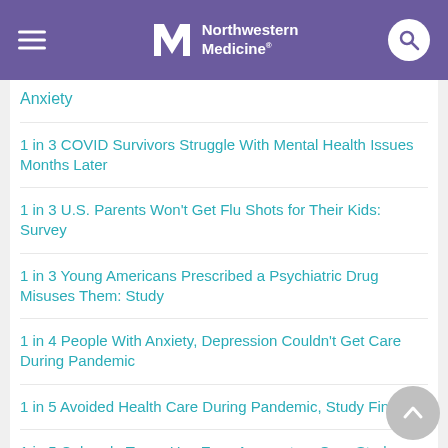Northwestern Medicine
Anxiety
1 in 3 COVID Survivors Struggle With Mental Health Issues Months Later
1 in 3 U.S. Parents Won't Get Flu Shots for Their Kids: Survey
1 in 3 Young Americans Prescribed a Psychiatric Drug Misuses Them: Study
1 in 4 People With Anxiety, Depression Couldn't Get Care During Pandemic
1 in 5 Avoided Health Care During Pandemic, Study Finds
1 in 5 Colorado Teens Has Easy Access to a Gun: Study
1 in 5 Hospitalized NYC COVID-19 Patients